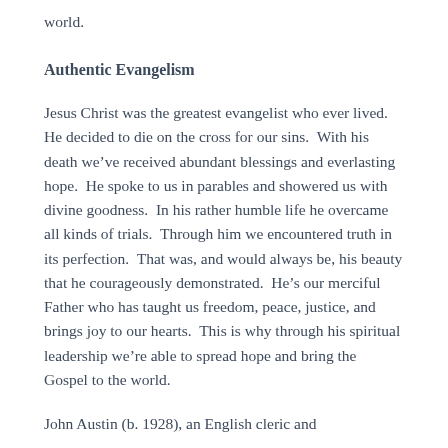world.
Authentic Evangelism
Jesus Christ was the greatest evangelist who ever lived.  He decided to die on the cross for our sins.  With his death we’ve received abundant blessings and everlasting hope.  He spoke to us in parables and showered us with divine goodness.  In his rather humble life he overcame all kinds of trials.  Through him we encountered truth in its perfection.  That was, and would always be, his beauty that he courageously demonstrated.  He’s our merciful Father who has taught us freedom, peace, justice, and brings joy to our hearts.  This is why through his spiritual leadership we’re able to spread hope and bring the Gospel to the world.
John Austin (b. 1928), an English cleric and